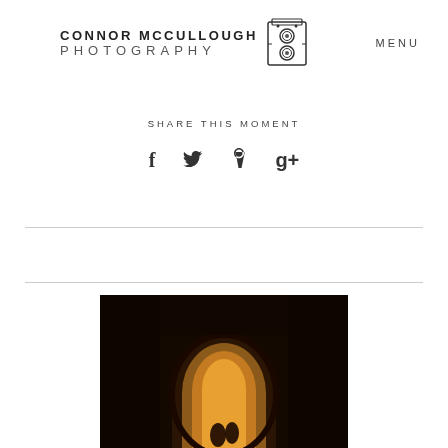[Figure (logo): Connor McCullough Photography logo with vintage twin-lens reflex camera icon and text]
MENU
SHARE THIS MOMENT
Social share icons: Facebook (f), Twitter (bird), Pinterest (P), Google+ (g+)
[Figure (photo): Dark photograph showing two people silhouetted inside a glowing stone archway or tunnel with warm amber light]